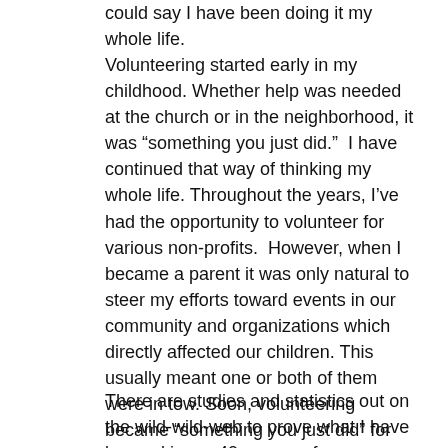could say I have been doing it my whole life.
Volunteering started early in my childhood. Whether help was needed at the church or in the neighborhood, it was “something you just did.”  I have continued that way of thinking my whole life. Throughout the years, I’ve had the opportunity to volunteer for various non-profits.  However, when I became a parent it was only natural to steer my efforts toward events in our community and organizations which directly affected our children. This usually meant one or both of them were in tow. Soon, volunteering became “something you just did” for them, too. Watching my now 17 and 19 year olds volunteer gives me great hope the volunteer-tradition will continue.
There are studies and statistics out on the wild-wild-web to prove what I have learned in my 40+ years of volunteering.  I won’t try to impress you